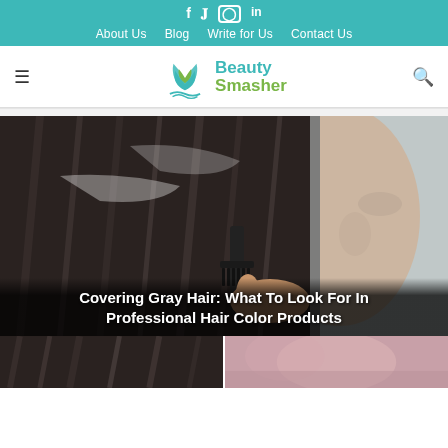f  y  instagram  in  |  About Us  Blog  Write for Us  Contact Us
[Figure (logo): Beauty Smasher logo with teal lotus/leaf icon and text 'Beauty Smasher']
[Figure (photo): Woman applying hair dye with a comb to long dark hair, close-up side profile shot]
Covering Gray Hair: What To Look For In Professional Hair Color Products
[Figure (photo): Two partial thumbnail images at the bottom of the page]